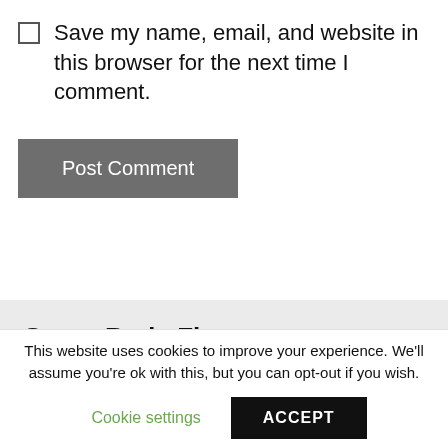Save my name, email, and website in this browser for the next time I comment.
Post Comment
Smart Body Fit
Es un herramienta imprescindible para potenciar tu servicio para tu
This website uses cookies to improve your experience. We'll assume you're ok with this, but you can opt-out if you wish.
Cookie settings
ACCEPT